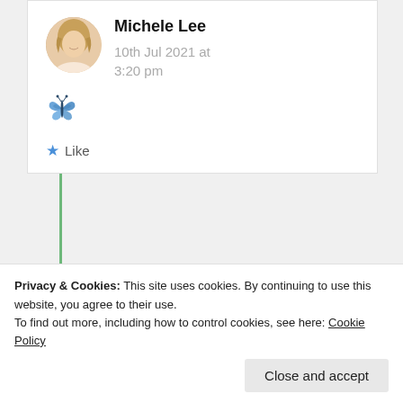Michele Lee
10th Jul 2021 at 3:20 pm
[Figure (illustration): Blue butterfly emoji]
Like
Aintamuggle
have almost everything 🌟 nicely penned
Privacy & Cookies: This site uses cookies. By continuing to use this website, you agree to their use.
To find out more, including how to control cookies, see here: Cookie Policy
Close and accept